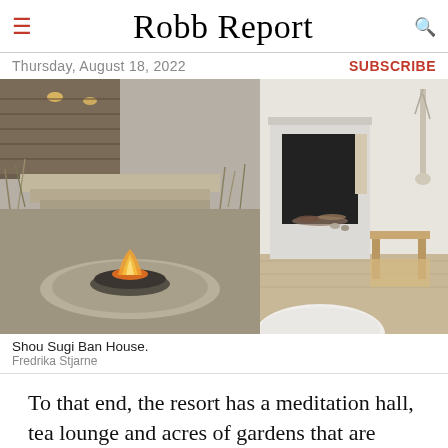Robb Report
Thursday, August 18, 2022  SUBSCRIBE
[Figure (photo): Two side-by-side photos: left shows an outdoor fire pit bowl with flames in a gravel courtyard with wooden steps and ornamental grasses; right shows a minimalist interior with a modern fireplace, wooden chair, and white seating.]
Shou Sugi Ban House.
Fredrika Stjarne
To that end, the resort has a meditation hall, tea lounge and acres of gardens that are unequivocally Japanese-inspired (as is the retreat's name, which refers to an ancient